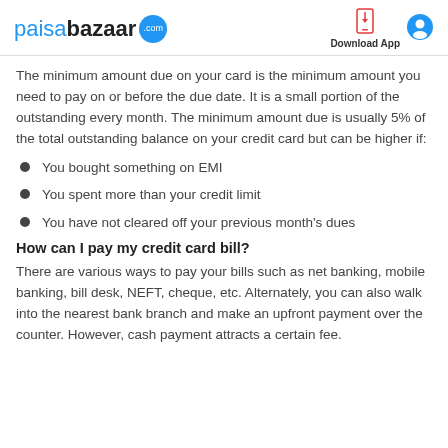paisabazaar.com | Download App
The minimum amount due on your card is the minimum amount you need to pay on or before the due date. It is a small portion of the outstanding every month. The minimum amount due is usually 5% of the total outstanding balance on your credit card but can be higher if:
You bought something on EMI
You spent more than your credit limit
You have not cleared off your previous month's dues
How can I pay my credit card bill?
There are various ways to pay your bills such as net banking, mobile banking, bill desk, NEFT, cheque, etc. Alternately, you can also walk into the nearest bank branch and make an upfront payment over the counter. However, cash payment attracts a certain fee.